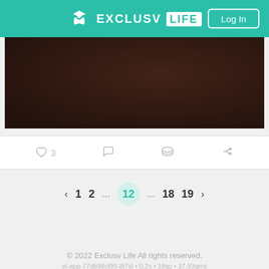EXCLUSV LIFE — Log In
[Figure (photo): Dark brown blurred background image]
♡ 3  ○  ≡  ↰
‹ 1 2 ... 12 ... 18 19 ›
© 2022 Exclusv Life All rights reserved. el-app-77db98cf99-8t7sl • 0.2s • 18qc • 37.93qms